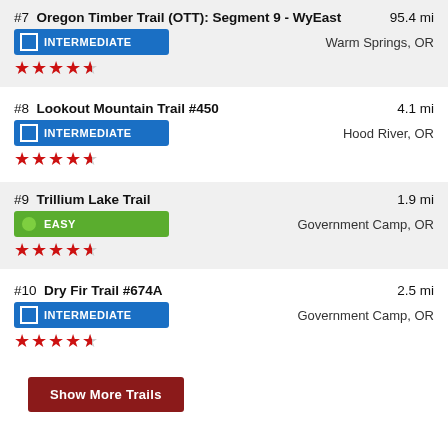#7 Oregon Timber Trail (OTT): Segment 9 - WyEast | 95.4 mi | INTERMEDIATE | Warm Springs, OR | 4.5 stars
#8 Lookout Mountain Trail #450 | 4.1 mi | INTERMEDIATE | Hood River, OR | 4.5 stars
#9 Trillium Lake Trail | 1.9 mi | EASY | Government Camp, OR | 4.5 stars
#10 Dry Fir Trail #674A | 2.5 mi | INTERMEDIATE | Government Camp, OR | 4.5 stars
Show More Trails